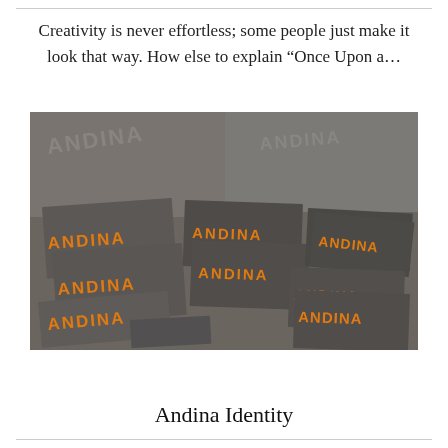Creativity is never effortless; some people just make it look that way. How else to explain “Once Upon a…
[Figure (photo): A flat-lay photograph showing multiple dark grey/charcoal business cards and stationery items arranged at various angles. Each card/item features the word ANDINA in bold orange/gold metallic lettering. Some items also show an embossed version of the text. The overall color scheme is dark grey with orange gold accents.]
Andina Identity